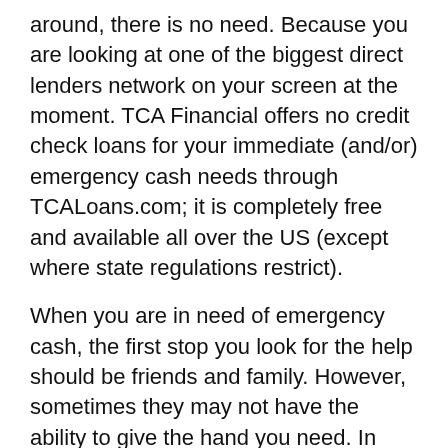around, there is no need. Because you are looking at one of the biggest direct lenders network on your screen at the moment. TCA Financial offers no credit check loans for your immediate (and/or) emergency cash needs through TCALoans.com; it is completely free and available all over the US (except where state regulations restrict).
When you are in need of emergency cash, the first stop you look for the help should be friends and family. However, sometimes they may not have the ability to give the hand you need. In these tough times, if you consider going to a pawn shop or local lending agency store, it would be a big mistake. Because at the moment you step into the store, they know that you are desperate and so you lose a huge portion of your bargaining power. Instead, if you do your research on the internet and apply to get pre-approved online, you